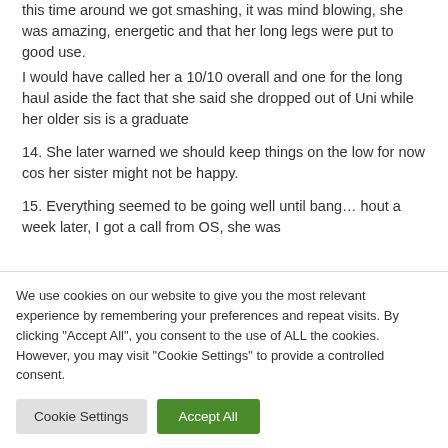this time around we got smashing, it was mind blowing, she was amazing, energetic and that her long legs were put to good use.
I would have called her a 10/10 overall and one for the long haul aside the fact that she said she dropped out of Uni while her older sis is a graduate
14. She later warned we should keep things on the low for now cos her sister might not be happy.
15. Everything seemed to be going well until bang… hout a week later, I got a call from OS, she was
We use cookies on our website to give you the most relevant experience by remembering your preferences and repeat visits. By clicking "Accept All", you consent to the use of ALL the cookies. However, you may visit "Cookie Settings" to provide a controlled consent.